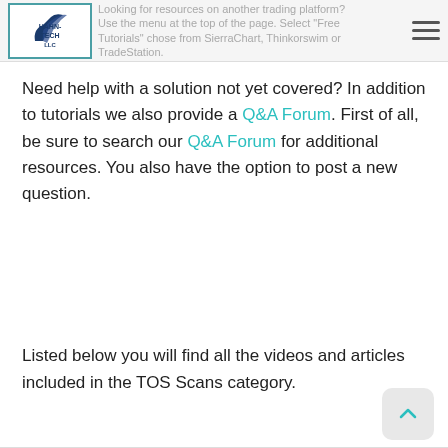Looking for resources on another trading platform? Use the menu at the top of the page. Select "Free Tutorials" chose from SierraChart, Thinkorswim or TradeStation.
Need help with a solution not yet covered? In addition to tutorials we also provide a Q&A Forum. First of all, be sure to search our Q&A Forum for additional resources. You also have the option to post a new question.
Listed below you will find all the videos and articles included in the TOS Scans category.